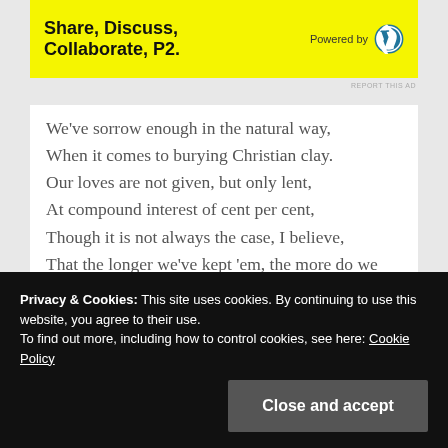[Figure (other): Advertisement banner with yellow background: 'Share, Discuss, Collaborate, P2.' Powered by WordPress logo]
REPORT THIS AD
We've sorrow enough in the natural way,
When it comes to burying Christian clay.
Our loves are not given, but only lent,
At compound interest of cent per cent,
Though it is not always the case, I believe,
That the longer we've kept 'em, the more do we grieve;
For, when debts are payable, right or wrong,
A short-time loan is as bad as long.
Privacy & Cookies: This site uses cookies. By continuing to use this website, you agree to their use.
To find out more, including how to control cookies, see here: Cookie Policy
Close and accept